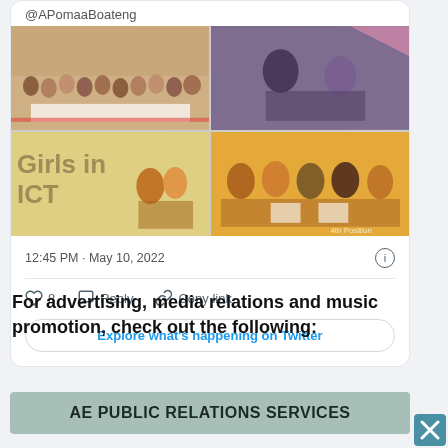@APomaaBoateng
[Figure (photo): Four-panel photo collage showing Girls in ICT event: top-left shows large group of women with banner, top-right shows two women exchanging item, bottom-left shows 'Girls in ICT' banner with two people exchanging item, bottom-right shows group of women smiling holding certificates]
12:45 PM · May 10, 2022
8   Reply   Copy link
Explore what's happening on Twitter
For advertising, media relations and music promotion,  check out the following:
AE PUBLIC RELATIONS SERVICES